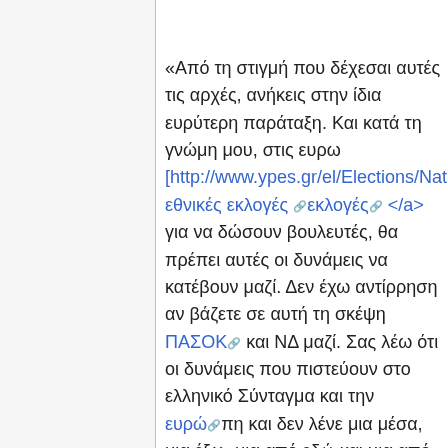«Από τη στιγμή που δέχεσαι αυτές τις αρχές, ανήκεις στην ίδια ευρύτερη παράταξη. Και κατά τη γνώμη μου, στις ευρω [http://www.ypes.gr/el/Elections/NationalEle... εθνικές εκλογές ☞εκλογές☞ </a> για να δώσουν βουλευτές, θα πρέπει αυτές οι δυνάμεις να κατέβουν μαζί. Δεν έχω αντίρρηση αν βάζετε σε αυτή τη σκέψη ΠΑΣΟΚ☞ και ΝΔ μαζί. Σας λέω ότι οι δυνάμεις που πιστεύουν στο ελληνικό Σύνταγμα και την ευρώ☞πη και δεν λένε μια μέσα, μια έξω, μια από εδώ και μια από εκεί και που πιστεύουν στη μικτή οικονομία☞ και έχουν εγκαταλείψει τις κομμουνιστικές φαντασιώσεις περί Κράτους☞ και μικτής οικονομία☞ς,